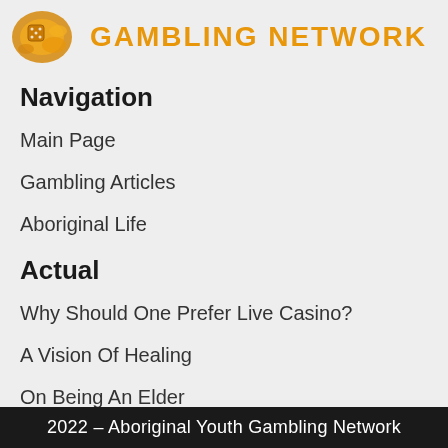[Figure (logo): Gambling Network logo with decorative golden image and orange bold text reading GAMBLING NETWORK]
Navigation
Main Page
Gambling Articles
Aboriginal Life
Actual
Why Should One Prefer Live Casino?
A Vision Of Healing
On Being An Elder
2022 – Aboriginal Youth Gambling Network